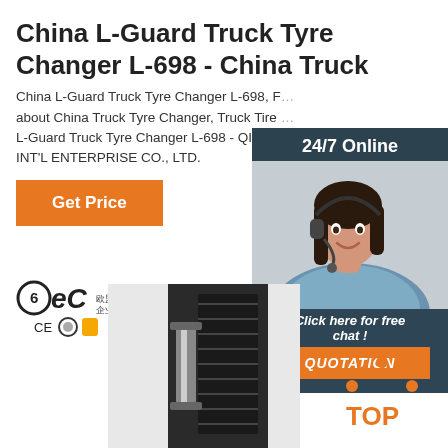China L-Guard Truck Tyre Changer L-698 - China Truck
China L-Guard Truck Tyre Changer L-698, Find details about China Truck Tyre Changer, Truck Tire Changer from L-Guard Truck Tyre Changer L-698 - QINGD... INT'L ENTERPRISE CO., LTD.
[Figure (infographic): 24/7 Online chat widget with photo of woman wearing headset, dark background, and orange QUOTATION button]
[Figure (logo): BEC logo with CE and other certification marks]
[Figure (photo): Product photo of L-Guard Truck Tyre Changer L-698]
[Figure (logo): TOP logo with orange dots and text]